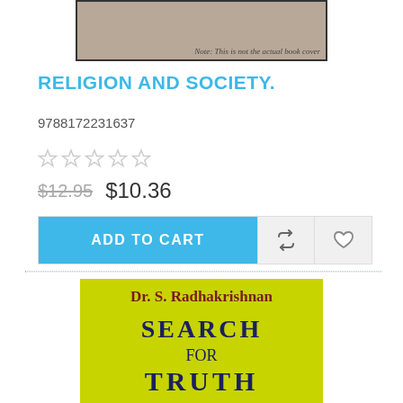[Figure (illustration): Partial view of a plain tan/beige book cover placeholder with a note: 'Note: This is not the actual book cover']
RELIGION AND SOCIETY.
9788172231637
[Figure (other): Five empty star rating icons in gray]
$12.95  $10.36
ADD TO CART
[Figure (illustration): Book cover for 'Search for Truth' by Dr. S. Radhakrishnan, yellow-green textured background with dark red and navy blue text, partially visible]